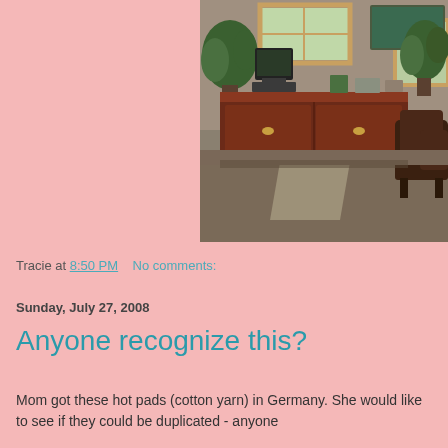[Figure (photo): Interior of an office or waiting room with a large dark wooden desk/credenza, a TV monitor on top, plants, picture frames on walls, leather chairs, carpet, and a window with natural light coming in.]
Tracie at 8:50 PM    No comments:
Sunday, July 27, 2008
Anyone recognize this?
Mom got these hot pads (cotton yarn) in Germany. She would like to see if they could be duplicated - anyone